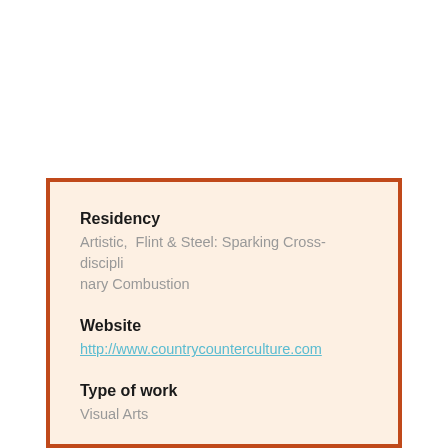Residency
Artistic,  Flint & Steel: Sparking Cross-disciplinary Combustion
Website
http://www.countrycounterculture.com
Type of work
Visual Arts
Location
California